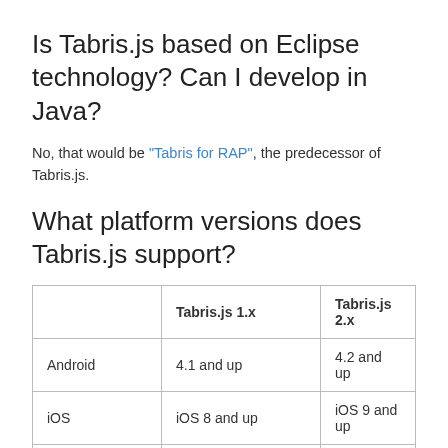Is Tabris.js based on Eclipse technology? Can I develop in Java?
No, that would be “Tabris for RAP”, the predecessor of Tabris.js.
What platform versions does Tabris.js support?
|  | Tabris.js 1.x | Tabris.js 2.x |
| --- | --- | --- |
| Android | 4.1 and up | 4.2 and up |
| iOS | iOS 8 and up | iOS 9 and up |
| Windows | N/A | 10 |